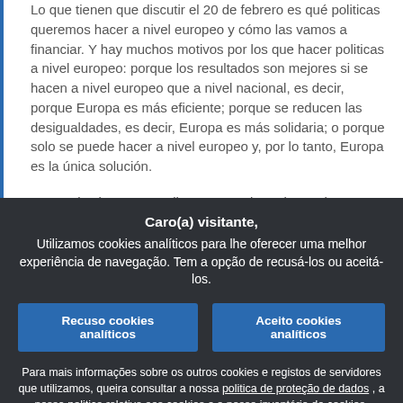Lo que tienen que discutir el 20 de febrero es qué politicas queremos hacer a nivel europeo y cómo las vamos a financiar. Y hay muchos motivos por los que hacer politicas a nivel europeo: porque los resultados son mejores si se hacen a nivel europeo que a nivel nacional, es decir, porque Europa es más eficiente; porque se reducen las desigualdades, es decir, Europa es más solidaria; o porque solo se puede hacer a nivel europeo y, por lo tanto, Europa es la única solución.
Y en todos los casos salimos ganando, todos, toda Europa. Así que, sinceramente, no entiendo por qué las discusiones del Consejo se siguen basando en falsas premisas. Pero, más allá de este debate contable, lo que tenemos y lo que me preocupa es el debate político porque, ¿cómo piensan llevar a cabo
Caro(a) visitante, Utilizamos cookies analíticos para lhe oferecer uma melhor experiência de navegação. Tem a opção de recusá-los ou aceitá-los.
Recuso cookies analíticos
Aceito cookies analíticos
Para mais informações sobre os outros cookies e registos de servidores que utilizamos, queira consultar a nossa politica de proteção de dados , a nossa politica relativa aos cookies e o nosso inventário de cookies.